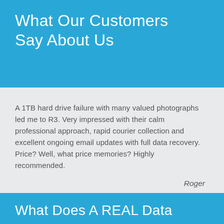What Our Customers Say About Us
A 1TB hard drive failure with many valued photographs led me to R3. Very impressed with their calm professional approach, rapid courier collection and excellent ongoing email updates with full data recovery. Price? Well, what price memories? Highly recommended.

Roger
What Does A REAL Data